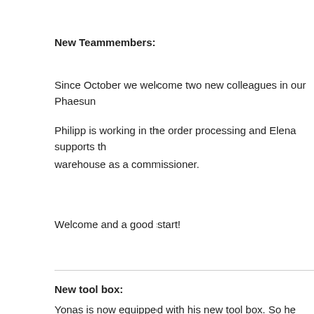New Teammembers:
Since October we welcome two new colleagues in our Phaesun
Philipp is working in the order processing and Elena supports the warehouse as a commissioner.
Welcome and a good start!
New tool box:
Yonas is now equipped with his new tool box. So he always has